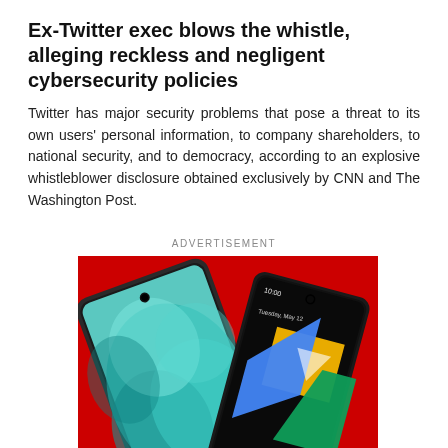Ex-Twitter exec blows the whistle, alleging reckless and negligent cybersecurity policies
Twitter has major security problems that pose a threat to its own users' personal information, to company shareholders, to national security, and to democracy, according to an explosive whistleblower disclosure obtained exclusively by CNN and The Washington Post.
ADVERTISEMENT
[Figure (photo): Advertisement image showing two smartphones — a Samsung Galaxy with a floral wallpaper on a red background, and a Google Pixel displaying a Google Drive icon on its screen.]